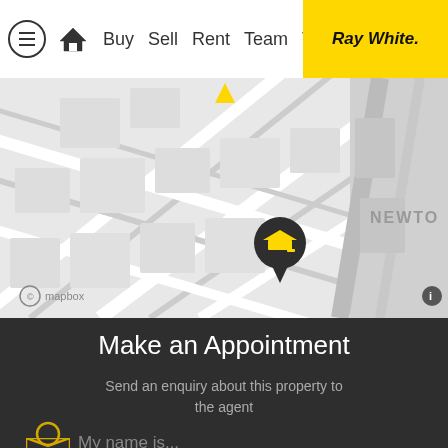Ray White — navigation bar with Buy, Sell, Rent, Team, The... links
[Figure (map): Mapbox street map showing a neighborhood with a graduation cap location pin marker and 'NEWTO' text visible at right. Yellow downward arrow at top center. Mapbox watermark at bottom left.]
Make an Appointment
Send an enquiry about this property to the agent
My name is...
[Figure (other): Yellow envelope icon (email) at bottom]